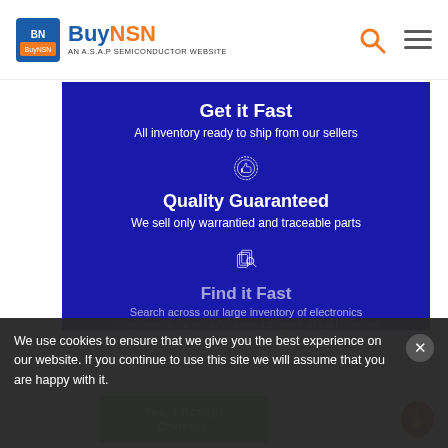[Figure (logo): BuyNSN logo - AN A.S.A.P SEMICONDUCTOR WEBSITE]
[Figure (infographic): Blue section with Get it Fast, Quality Guaranteed, and Find it Fast content with icons]
We use cookies to ensure that we give you the best experience on our website. If you continue to use this site we will assume that you are happy with it.